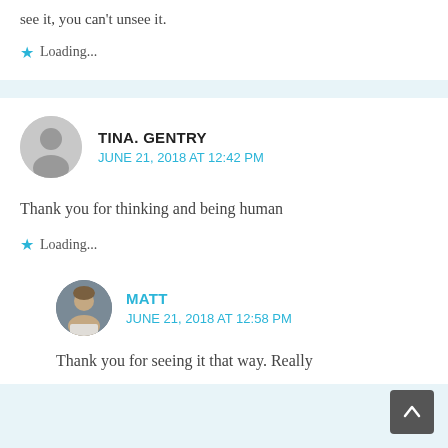see it, you can't unsee it.
Loading...
TINA. GENTRY
JUNE 21, 2018 AT 12:42 PM
Thank you for thinking and being human
Loading...
MATT
JUNE 21, 2018 AT 12:58 PM
Thank you for seeing it that way. Really